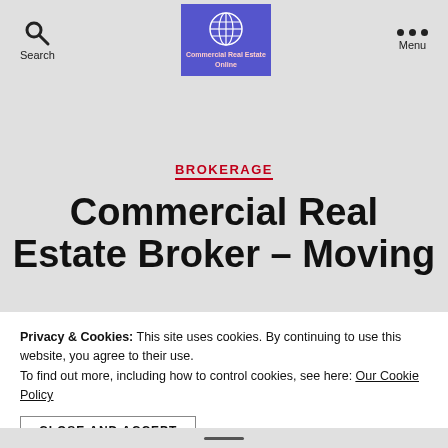Search | Commercial Real Estate Estate Online | Menu
BROKERAGE
Commercial Real Estate Broker – Moving
Privacy & Cookies: This site uses cookies. By continuing to use this website, you agree to their use.
To find out more, including how to control cookies, see here: Our Cookie Policy
CLOSE AND ACCEPT